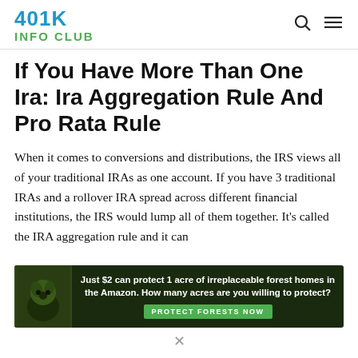401K INFO CLUB
If You Have More Than One Ira: Ira Aggregation Rule And Pro Rata Rule
When it comes to conversions and distributions, the IRS views all of your traditional IRAs as one account. If you have 3 traditional IRAs and a rollover IRA spread across different financial institutions, the IRS would lump all of them together. It’s called the IRA aggregation rule and it can
[Figure (other): Advertisement banner: Just $2 can protect 1 acre of irreplaceable forest homes in the Amazon. How many acres are you willing to protect? PROTECT FORESTS NOW]